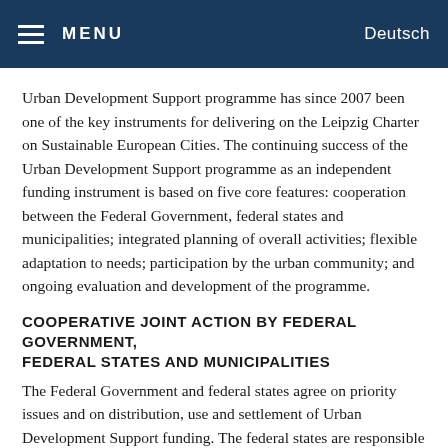MENU   Deutsch
Urban Development Support programme has since 2007 been one of the key instruments for delivering on the Leipzig Charter on Sustainable European Cities. The continuing success of the Urban Development Support programme as an independent funding instrument is based on five core features: cooperation between the Federal Government, federal states and municipalities; integrated planning of overall activities; flexible adaptation to needs; participation by the urban community; and ongoing evaluation and development of the programme.
COOPERATIVE JOINT ACTION BY FEDERAL GOVERNMENT, FEDERAL STATES AND MUNICIPALITIES
The Federal Government and federal states agree on priority issues and on distribution, use and settlement of Urban Development Support funding. The federal states are responsible for actual distribution and direct the funding to the towns, cities and communities. This is based on federal state-specific urban development guidelines, containing requirements and rules laid